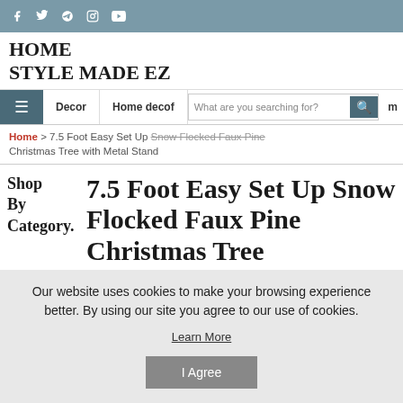Social media icons: Facebook, Twitter, Pinterest, Instagram, YouTube
HOME STYLE MADE EZ
Navigation: Decor | Home decor | Search bar | m
Home > 7.5 Foot Easy Set Up Snow Flocked Faux Pine Christmas Tree with Metal Stand
Shop By Category
7.5 Foot Easy Set Up Snow Flocked Faux Pine Christmas Tree
Our website uses cookies to make your browsing experience better. By using our site you agree to our use of cookies.
Learn More
I Agree